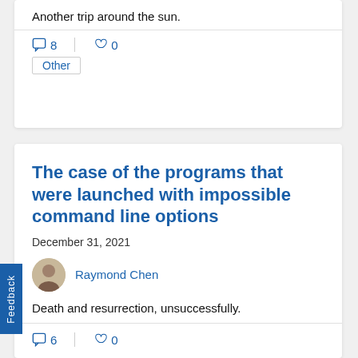Another trip around the sun.
8  0
Other
The case of the programs that were launched with impossible command line options
December 31, 2021
Raymond Chen
Death and resurrection, unsuccessfully.
6  0